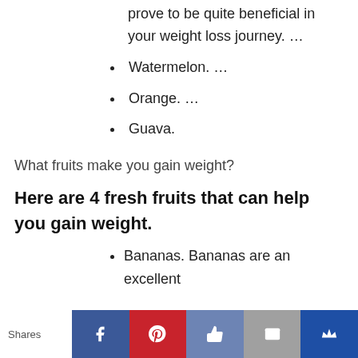prove to be quite beneficial in your weight loss journey. …
Watermelon. …
Orange. …
Guava.
What fruits make you gain weight?
Here are 4 fresh fruits that can help you gain weight.
Bananas. Bananas are an excellent